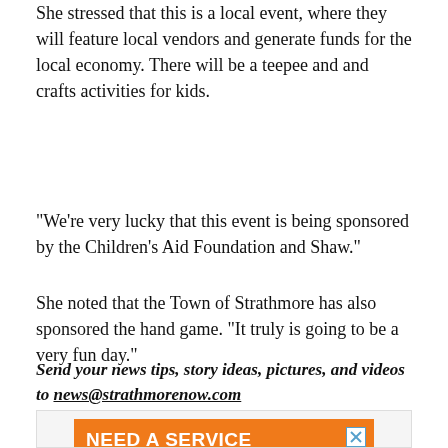She stressed that this is a local event, where they will feature local vendors and generate funds for the local economy. There will be a teepee and and crafts activities for kids.
“We’re very lucky that this event is being sponsored by the Children’s Aid Foundation and Shaw.”
She noted that the Town of Strathmore has also sponsored the hand game. “It truly is going to be a very fun day.”
Send your news tips, story ideas, pictures, and videos to news@strathmorenow.com
[Figure (photo): Advertisement for Bro-Tech plumbing service. Orange banner reads 'NEED A SERVICE PLUMBER?' with subtext 'REPAIRS | DRAIN CLEANING | FIXTURES | RENOS'. Below is the Bro-Tech logo in large orange letters.]